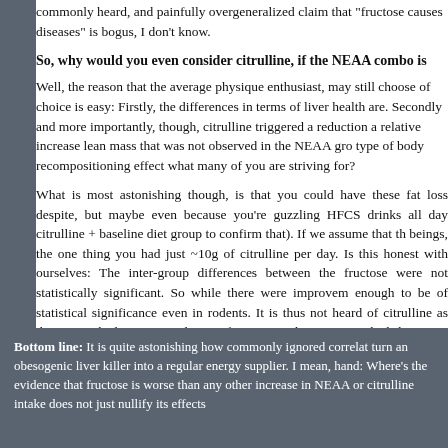commonly heard, and painfully overgeneralized claim that "fructose causes diseases" is bogus, I don't know.
So, why would you even consider citrulline, if the NEAA combo is
Well, the reason that the average physique enthusiast, may still choose of choice is easy: Firstly, the differences in terms of liver health are. Secondly and more importantly, though, citrulline triggered a reduction a relative increase lean mass that was not observed in the NEAA gro type of body recompositioning effect what many of you are striving for?
What is most astonishing though, is that you could have these fat loss despite, but maybe even because you're guzzling HFCS drinks all day citrulline + baseline diet group to confirm that). If we assume that th beings, the one thing you had just ~10g of citrulline per day. Is this honest with ourselves: The inter-group differences between the fructose were not statistically significant. So while there were improvem enough to be of statistical significance even in rodents. It is thus not heard of citrulline as the "get jacked" amino acid very often... even thou to get jacked does exist (more).
Bottom line: It is quite astonishing how commonly ignored correlat turn an obesogenic liver killer into a regular energy supplier. I mean, hand: Where's the evidence that fructose is worse than any other increase in NEAA or citrulline intake does not just nullify its effects